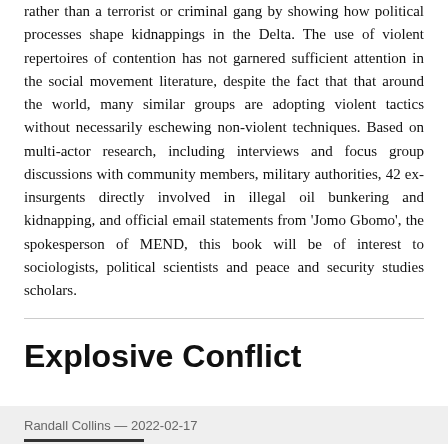rather than a terrorist or criminal gang by showing how political processes shape kidnappings in the Delta. The use of violent repertoires of contention has not garnered sufficient attention in the social movement literature, despite the fact that that around the world, many similar groups are adopting violent tactics without necessarily eschewing non-violent techniques. Based on multi-actor research, including interviews and focus group discussions with community members, military authorities, 42 ex-insurgents directly involved in illegal oil bunkering and kidnapping, and official email statements from 'Jomo Gbomo', the spokesperson of MEND, this book will be of interest to sociologists, political scientists and peace and security studies scholars.
Explosive Conflict
Randall Collins — 2022-02-17